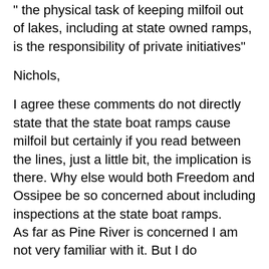" the physical task of keeping milfoil out of lakes, including at state owned ramps, is the responsibility of private initiatives"
Nichols,
I agree these comments do not directly state that the state boat ramps cause milfoil but certainly if you read between the lines, just a little bit, the implication is there. Why else would both Freedom and Ossipee be so concerned about including inspections at the state boat ramps. As far as Pine River is concerned I am not very familiar with it. But I do